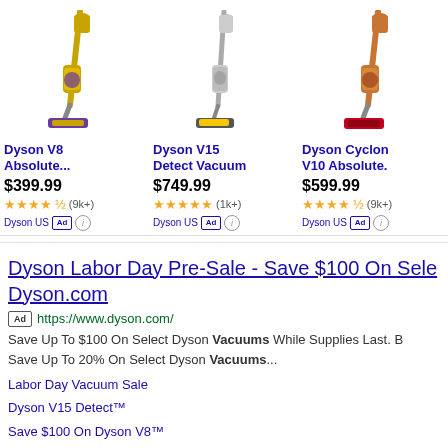[Figure (screenshot): Three Dyson vacuum cleaner product images (V8 Absolute, V15 Detect, Cyclone V10 Absolute) displayed as shopping ads]
Dyson V8 Absolute...
$399.99 ★★★★½ (9k+) Dyson US Ad
Dyson V15 Detect Vacuum
$749.99 ★★★★★ (1k+) Dyson US Ad
Dyson Cyclon V10 Absolute.
$599.99 ★★★★½ (9k+) Dyson US Ad
Dyson Labor Day Pre-Sale - Save $100 On Sele Dyson.com
Ad https://www.dyson.com/
Save Up To $100 On Select Dyson Vacuums While Supplies Last. B Save Up To 20% On Select Dyson Vacuums...
Labor Day Vacuum Sale
Dyson V15 Detect™
Save $100 On Dyson V8™